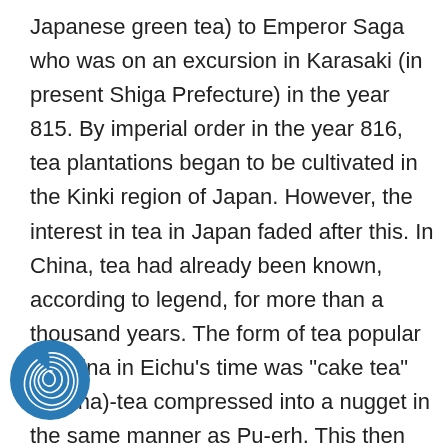Japanese green tea) to Emperor Saga who was on an excursion in Karasaki (in present Shiga Prefecture) in the year 815. By imperial order in the year 816, tea plantations began to be cultivated in the Kinki region of Japan. However, the interest in tea in Japan faded after this. In China, tea had already been known, according to legend, for more than a thousand years. The form of tea popular in China in Eichu's time was "cake tea" dancha)-tea compressed into a nugget in the same manner as Pu-erh. This then would be ground in a mortar, and the resulting ground tea mixed together with various other herbs and/or flavourings. The custom of drinking tea, first for medicinal, and then largely also for pleasurable reasons, was already widespread throughout China. In the early 9th century, Chinese author Lu Yu wrote The Classic of Tea, a treatise focusing on its cultivation and preparation. Lu Yu's life had be
[Figure (logo): Circular blue logo with fingerprint/swirl pattern]